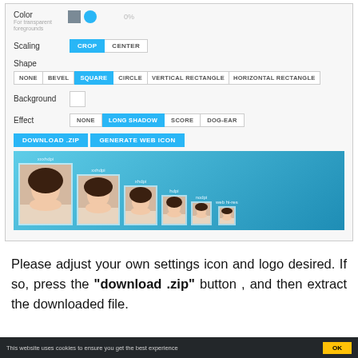[Figure (screenshot): UI panel showing icon/logo settings with Color row (gray swatch, blue circle, 0%), Scaling buttons (CROP active, CENTER), Shape buttons (NONE, BEVEL, SQUARE active, CIRCLE, VERTICAL RECTANGLE, HORIZONTAL RECTANGLE), Background checkbox, Effect buttons (NONE, LONG SHADOW active, SCORE, DOG-EAR), Download ZIP and Generate Web Icon buttons, and a preview strip of icons at various resolutions (xxxdpi, xxhdpi, xhdpi, hdpi, nodpi, web hi-res) showing a woman's face cropped in square frames on a blue background.]
Please adjust your own settings icon and logo desired. If so, press the "download .zip" button , and then extract the downloaded file.
This website uses cookies to ensure you get the best experience